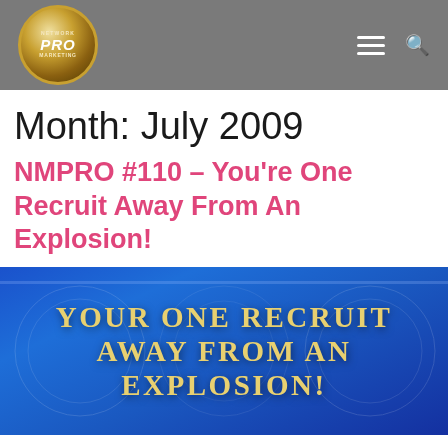Network Marketing PRO header with logo, menu icon, and search icon
Month: July 2009
NMPRO #110 – You're One Recruit Away From An Explosion!
[Figure (illustration): Blue banner image with gold/yellow text reading 'YOUR ONE RECRUIT AWAY FROM AN EXPLOSION!' on a royal blue background with decorative circular watermark patterns]